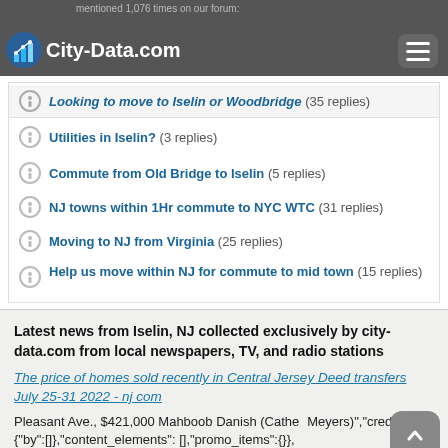City-Data.com
mentioned 1,076 times on our forum:
Looking to move to Iselin or Woodbridge (35 replies)
Utilities in Iselin? (3 replies)
Commute from Old Bridge to Iselin (5 replies)
NJ towns within 1Hr commute to NYC WTC (31 replies)
Moving to NJ from Virginia (25 replies)
Help us move within NJ for commute to mid town (15 replies)
Latest news from Iselin, NJ collected exclusively by city-data.com from local newspapers, TV, and radio stations
The price of homes sold recently in Central Jersey Deed transfers July 25-31 2022 - nj.com
Pleasant Ave., $421,000 Mahboob Danish (Cathe Meyers)","credits":{"by":[]},"content_elements": [],"promo_items":{}}